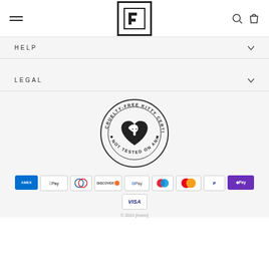[Figure (logo): Website header with hamburger menu on left, stylized F logo in center (square border with F-like shape), search and bag icons on right]
HELP
LEGAL
[Figure (logo): Cruelty-Free Kitty Certified badge - circular badge with text 'CRUELTY-FREE KITTY CERTIFIED' and 'NOT TESTED ON ANIMALS' around a heart with cat silhouette]
[Figure (other): Payment method icons: American Express, Apple Pay, Diners Club, Discover, Google Pay, Maestro, Mastercard, PayPal, Shop Pay, Visa]
© 2024 [brand name] - footer text